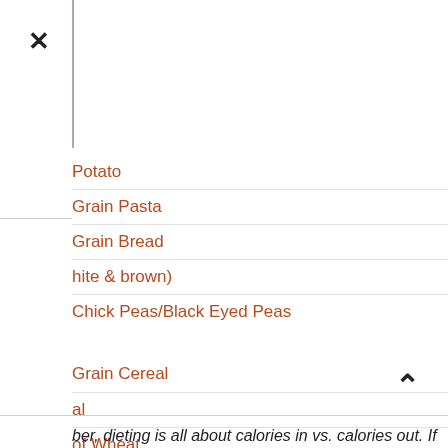×
Potato
Grain Pasta
Grain Bread
hite & brown)
Chick Peas/Black Eyed Peas
Grain Cereal
al
of Wheat
Cookies/Pastries
ber, dieting is all about calories in vs. calories out. If